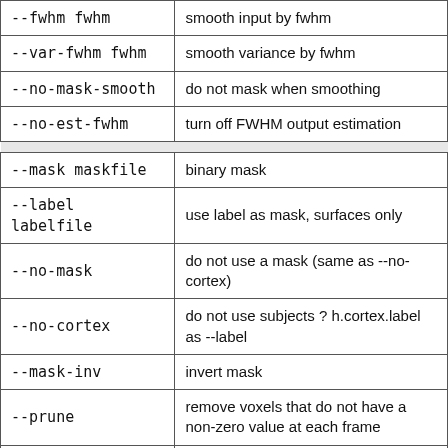| Option | Description |
| --- | --- |
| --fwhm fwhm | smooth input by fwhm |
| --var-fwhm fwhm | smooth variance by fwhm |
| --no-mask-smooth | do not mask when smoothing |
| --no-est-fwhm | turn off FWHM output estimation |
|  |  |
| --mask maskfile | binary mask |
| --label labelfile | use label as mask, surfaces only |
| --no-mask | do not use a mask (same as --no-cortex) |
| --no-cortex | do not use subjects ? h.cortex.label as --label |
| --mask-inv | invert mask |
| --prune | remove voxels that do not have a non-zero value at each frame |
| --no-prune | do not prune |
| --no-logy | compute natural log of y prior to analysis |